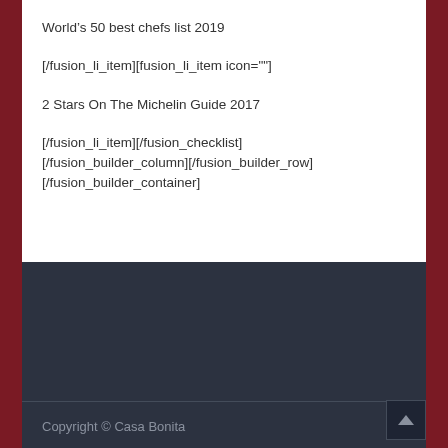World’s 50 best chefs list 2019
[/fusion_li_item][fusion_li_item icon=""]
2 Stars On The Michelin Guide 2017
[/fusion_li_item][/fusion_checklist][/fusion_builder_column][/fusion_builder_row][/fusion_builder_container]
Copyright © Casa Bonita